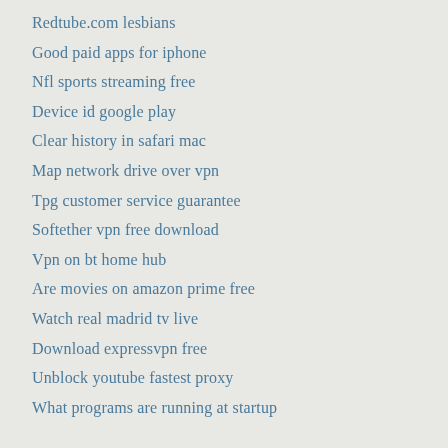Redtube.com lesbians
Good paid apps for iphone
Nfl sports streaming free
Device id google play
Clear history in safari mac
Map network drive over vpn
Tpg customer service guarantee
Softether vpn free download
Vpn on bt home hub
Are movies on amazon prime free
Watch real madrid tv live
Download expressvpn free
Unblock youtube fastest proxy
What programs are running at startup